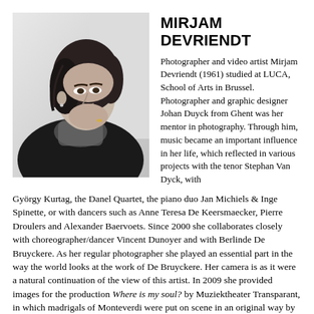[Figure (photo): Black and white portrait photograph of Mirjam Devriendt, a woman with dark hair, resting her chin on her hand, wearing a dark jacket and scarf.]
MIRJAM DEVRIENDT
Photographer and video artist Mirjam Devriendt (1961) studied at LUCA, School of Arts in Brussel. Photographer and graphic designer Johan Duyck from Ghent was her mentor in photography. Through him, music became an important influence in her life, which reflected in various projects with the tenor Stephan Van Dyck, with György Kurtag, the Danel Quartet, the piano duo Jan Michiels & Inge Spinette, or with dancers such as Anne Teresa De Keersmaecker, Pierre Droulers and Alexander Baervoets. Since 2000 she collaborates closely with choreographer/dancer Vincent Dunoyer and with Berlinde De Bruyckere. As her regular photographer she played an essential part in the way the world looks at the work of De Bruyckere. Her camera is as it were a natural continuation of the view of this artist. In 2009 she provided images for the production Where is my soul? by Muziektheater Transparant, in which madrigals of Monteverdi were put on scene in an original way by director Caroline Petrick. In 2015 she created videos for the opera Penthesilea in De Munt/La Monnaie, directed by Pierre Audi and with a scenography by Berlinde